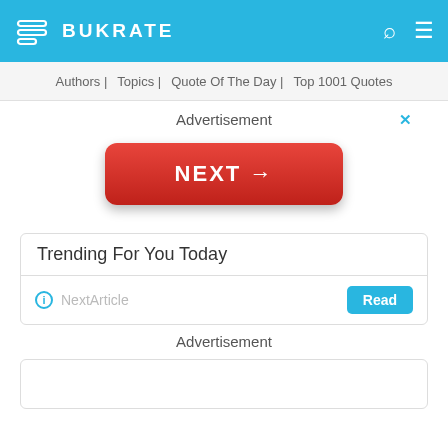BUKRATE
Authors | Topics | Quote Of The Day | Top 1001 Quotes
Advertisement
[Figure (screenshot): Red button with white text NEXT and right arrow]
Trending For You Today
NextArticle  Read
Advertisement